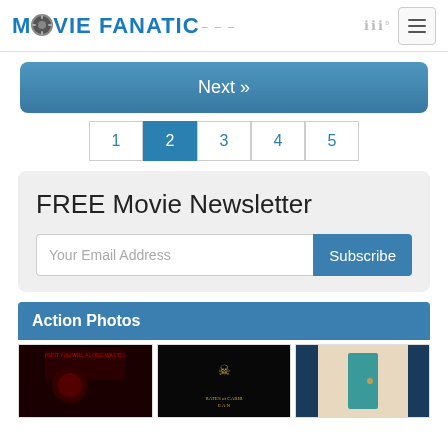MOVIE FANATIC
Next »
1
2
3
4
5
FREE Movie Newsletter
Your Email Address
Subscribe
Action Photos
[Figure (photo): Three movie poster thumbnails: an action/dark movie, Pirates of the Caribbean, and a third film with a door/teal color scheme]